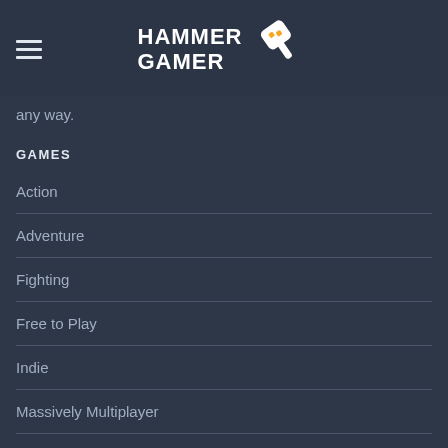HAMMER GAMER
any way.
GAMES
Action
Adventure
Fighting
Free to Play
Indie
Massively Multiplayer
More games >
GAMES